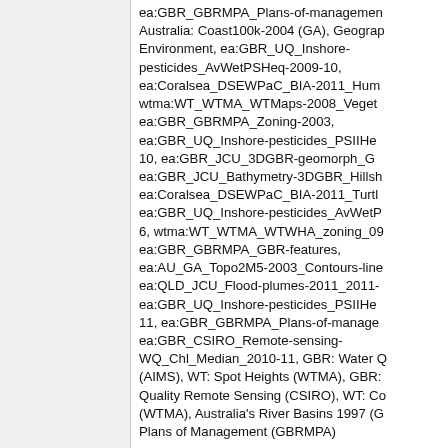ea:GBR_GBRMPA_Plans-of-management, Australia: Coast100k-2004 (GA), Geography Environment, ea:GBR_UQ_Inshore-pesticides_AvWetPSHeq-2009-10, ea:Coralsea_DSEWPaC_BIA-2011_Hum wtma:WT_WTMA_WTMaps-2008_Veget ea:GBR_GBRMPA_Zoning-2003, ea:GBR_UQ_Inshore-pesticides_PSIIHe 10, ea:GBR_JCU_3DGBR-geomorph_G ea:GBR_JCU_Bathymetry-3DGBR_Hills ea:Coralsea_DSEWPaC_BIA-2011_Turt ea:GBR_UQ_Inshore-pesticides_AvWetF 6, wtma:WT_WTMA_WTWHA_zoning_0 ea:GBR_GBRMPA_GBR-features, ea:AU_GA_Topo2M5-2003_Contours-line ea:QLD_JCU_Flood-plumes-2011_2011- ea:GBR_UQ_Inshore-pesticides_PSIIHe 11, ea:GBR_GBRMPA_Plans-of-manage ea:GBR_CSIRO_Remote-sensing-WQ_Chl_Median_2010-11, GBR: Water (AIMS), WT: Spot Heights (WTMA), GBR Quality Remote Sensing (CSIRO), WT: C (WTMA), Australia's River Basins 1997 (G Plans of Management (GBRMPA)